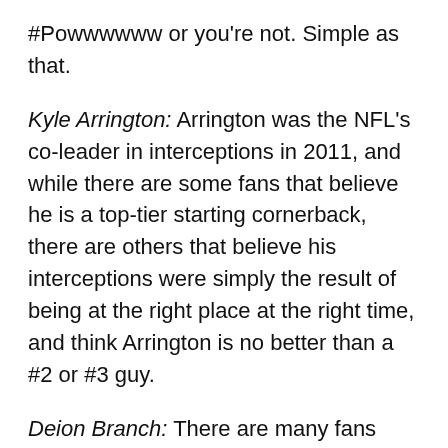#Powwwwww or you're not. Simple as that.
Kyle Arrington: Arrington was the NFL's co-leader in interceptions in 2011, and while there are some fans that believe he is a top-tier starting cornerback, there are others that believe his interceptions were simply the result of being at the right place at the right time, and think Arrington is no better than a #2 or #3 guy.
Deion Branch: There are many fans who think Branch is still a skilled receiver who is valuable to the Patriots offense, while there are others who see Branch's production solely as a factor of his chemistry with Brady, and that his time with the team could be coming to an end soon.
Sergio Brown: Many fans have been harsh on Brown